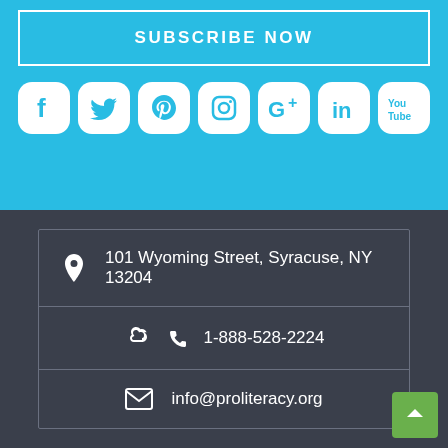SUBSCRIBE NOW
[Figure (illustration): Social media icons: Facebook, Twitter, Pinterest, Instagram, Google+, LinkedIn, YouTube]
101 Wyoming Street, Syracuse, NY 13204
1-888-528-2224
info@proliteracy.org